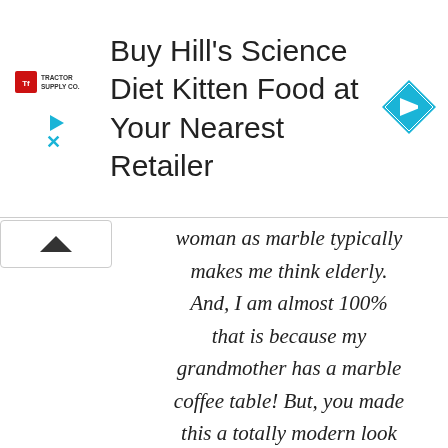[Figure (screenshot): Advertisement banner: Tractor Supply Co logo on left, large text 'Buy Hill's Science Diet Kitten Food at Your Nearest Retailer', blue navigation diamond icon on right, play and close icons on far left]
woman as marble typically makes me think elderly. And, I am almost 100% that is because my grandmother has a marble coffee table! But, you made this a totally modern look and I love it!
Reply